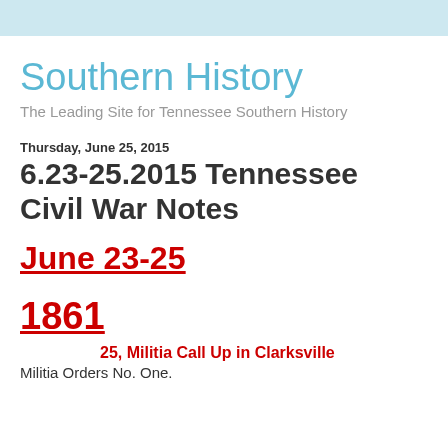Southern History
The Leading Site for Tennessee Southern History
Thursday, June 25, 2015
6.23-25.2015 Tennessee Civil War Notes
June 23-25
1861
25, Militia Call Up in Clarksville
Militia Orders No. One.